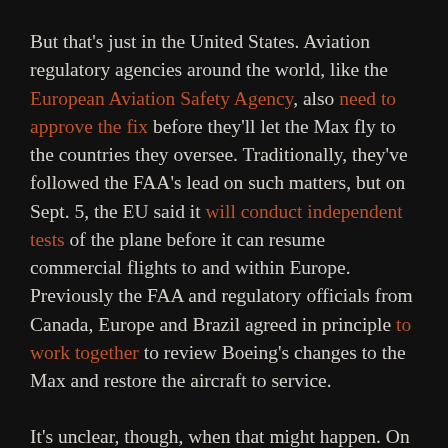But that's just in the United States. Aviation regulatory agencies around the world, like the European Aviation Safety Agency, also need to approve the fix before they'll let the Max fly to the countries they oversee. Traditionally, they've followed the FAA's lead on such matters, but on Sept. 5, the EU said it will conduct independent tests of the plane before it can resume commercial flights to and within Europe. Previously the FAA and regulatory officials from Canada, Europe and Brazil agreed in principle to work together to review Boeing's changes to the Max and restore the aircraft to service.
It's unclear, though, when that might happen. On Jan. 22, Boeing said the 737 Max will stay grounded until mid-2020. For its part the FAA has not confirmed a date for a test flight, but it did also...